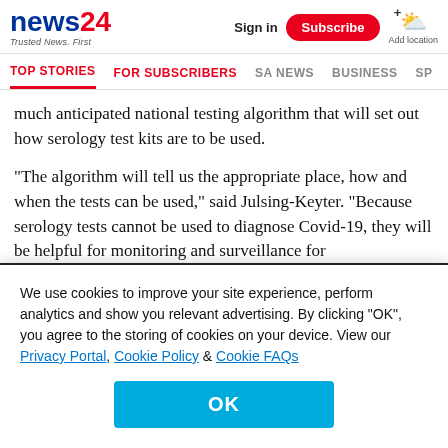news24 | Trusted News. First | Sign in | Subscribe | Add location
TOP STORIES | FOR SUBSCRIBERS | SA NEWS | BUSINESS | SP
much anticipated national testing algorithm that will set out how serology test kits are to be used.
“The algorithm will tell us the appropriate place, how and when the tests can be used,” said Julsing-Keyter. “Because serology tests cannot be used to diagnose Covid-19, they will be helpful for monitoring and surveillance for
We use cookies to improve your site experience, perform analytics and show you relevant advertising. By clicking “OK”, you agree to the storing of cookies on your device. View our Privacy Portal, Cookie Policy & Cookie FAQs
OK